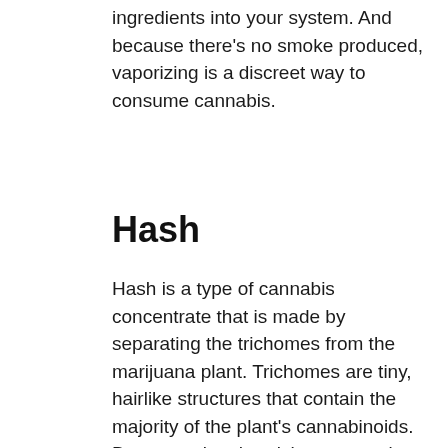ingredients into your system. And because there's no smoke produced, vaporizing is a discreet way to consume cannabis.
Hash
Hash is a type of cannabis concentrate that is made by separating the trichomes from the marijuana plant. Trichomes are tiny, hairlike structures that contain the majority of the plant's cannabinoids. By separating the trichomes, you're able to create a product that is more potent than regular marijuana.
Hash can be used in many different ways. It can be smoked on its own or added to other marijuana products, such as joints or edibles. Hash can also be vaporized, which allows you